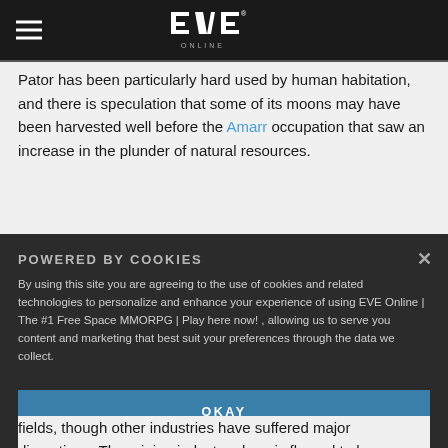EVE Online logo and hamburger menu
Pator has been particularly hard used by human habitation, and there is speculation that some of its moons may have been harvested well before the Amarr occupation that saw an increase in the plunder of natural resources.
POWERED BY COOKIES
By using this site you are agreeing to the use of cookies and related technologies to personalize and enhance your experience of using EVE Online | The #1 Free Space MMORPG | Play here now! , allowing us to serve you content and marketing that best suit your preferences through the data we collect.
OKAY
fields, though other industries have suffered major disruptions. The mining industry alone is floured to have